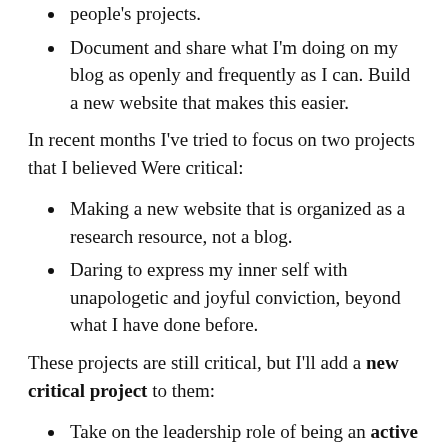people's projects.
Document and share what I'm doing on my blog as openly and frequently as I can. Build a new website that makes this easier.
In recent months I've tried to focus on two projects that I believed Were critical:
Making a new website that is organized as a research resource, not a blog.
Daring to express my inner self with unapologetic and joyful conviction, beyond what I have done before.
These projects are still critical, but I'll add a new critical project to them:
Take on the leadership role of being an active source for what I believe in and make it possible